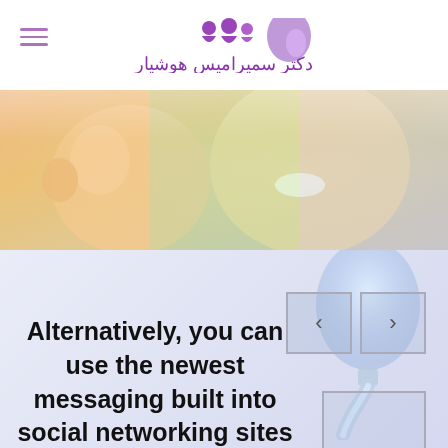[Figure (logo): Medical website logo with purple Arabic text reading دکتر سمیرامیس هوشیار and purple icons above]
[Figure (photo): Colorful photo of a smiling mother and baby with rainbow-tinted overlay]
[Figure (illustration): Blue-toned illustration of a sperm cell on a light blue-purple gradient background, with navigation arrow buttons]
Alternatively, you can use the newest messaging built into social networking sites otherwise